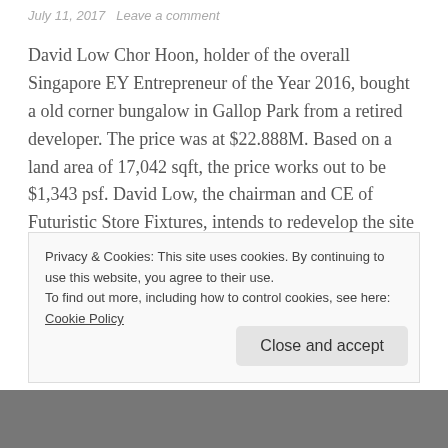July 11, 2017   Leave a comment
David Low Chor Hoon, holder of the overall Singapore EY Entrepreneur of the Year 2016, bought a old corner bungalow in Gallop Park from a retired developer. The price was at $22.888M. Based on a land area of 17,042 sqft, the price works out to be $1,343 psf. David Low, the chairman and CE of Futuristic Store Fixtures, intends to redevelop the site into a new 2-storey (with basement and attic) house of about 13,000 sqft.
Privacy & Cookies: This site uses cookies. By continuing to use this website, you agree to their use.
To find out more, including how to control cookies, see here: Cookie Policy
Close and accept